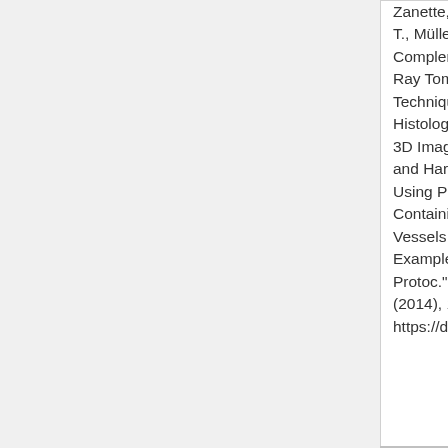Zanette, I., Saxer, T., Müller, B., Complementary X-Ray Tomography Techniques for Histology-Validated 3D Imaging of Soft and Hard Tissues Using Plaque-Containing Blood Vessels as Examples, "Nat. Protoc.", '9', (2014), 1401-1415, https://doi.org/10.1038/nprot.2014.091
Zanette, I., Saxer, T., Müller, B., Complementary X-Ray Tomography Techniques for Histology-Validated 3D Imaging of Soft and Hard Tissues Using Plaque-Containing Blood Vessels as Examples, "Nat. Protoc.", '9', (2014), 1401-1415, https://doi.org/10.1038/nprot.2014.091